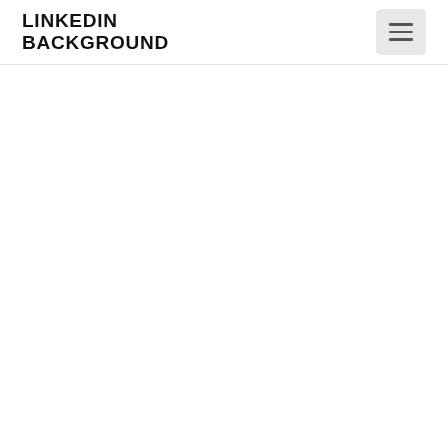LINKEDIN BACKGROUND
[Figure (other): Hamburger menu button (three horizontal lines) on a light gray rounded rectangle background, positioned in the top-right of the header]